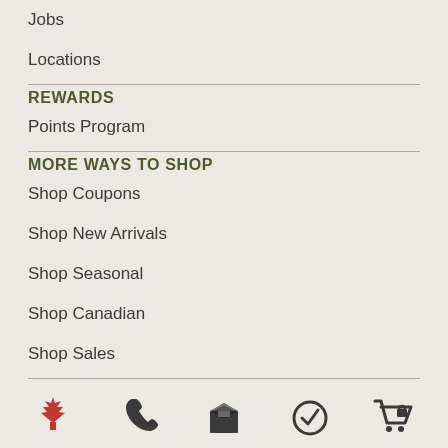Jobs
Locations
REWARDS
Points Program
MORE WAYS TO SHOP
Shop Coupons
Shop New Arrivals
Shop Seasonal
Shop Canadian
Shop Sales
[Figure (infographic): Row of 5 icons at the bottom: Canadian maple leaf (orange/red), phone handset (dark), shipping box (dark), checkmark shield (dark), shopping cart with lock (dark)]